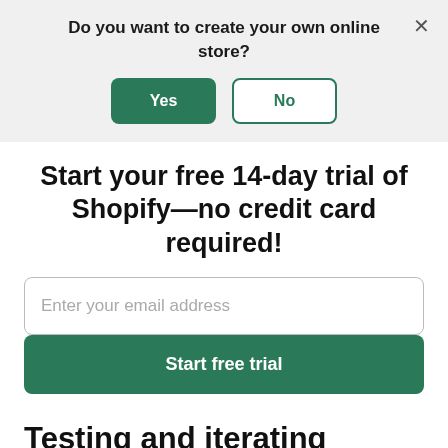Do you want to create your own online store?
Yes
No
Start your free 14-day trial of Shopify—no credit card required!
Enter your email address
Start free trial
Testing and iterating psychological pricing